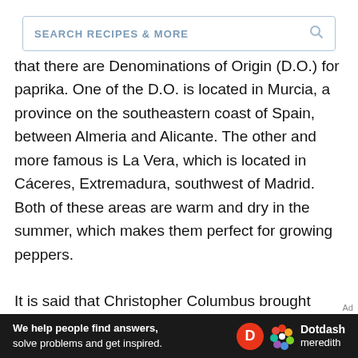SEARCH RECIPES & MORE
that there are Denominations of Origin (D.O.) for paprika. One of the D.O. is located in Murcia, a province on the southeastern coast of Spain, between Almeria and Alicante. The other and more famous is La Vera, which is located in Cáceres, Extremadura, southwest of Madrid. Both of these areas are warm and dry in the summer, which makes them perfect for growing peppers.

It is said that Christopher Columbus brought paprika back to Spain during his second voyage and served it to Ferdinand and Isabella in
Ad
[Figure (infographic): Dotdash Meredith advertisement banner: 'We help people find answers, solve problems and get inspired.' with Dotdash Meredith logo]